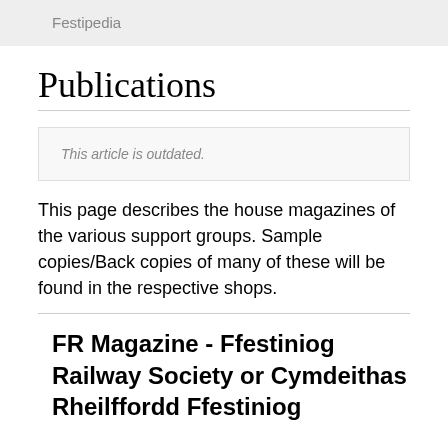Festipedia
Publications
This article is outdated.
This page describes the house magazines of the various support groups. Sample copies/Back copies of many of these will be found in the respective shops.
FR Magazine - Ffestiniog Railway Society or Cymdeithas Rheilffordd Ffestiniog